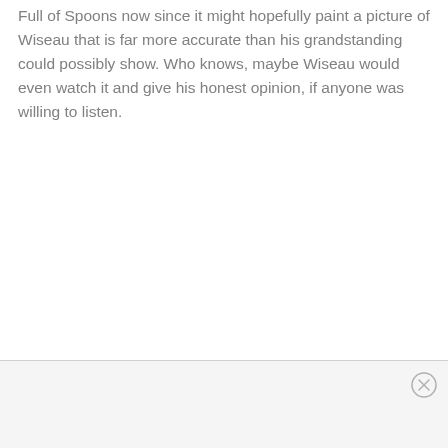Full of Spoons now since it might hopefully paint a picture of Wiseau that is far more accurate than his grandstanding could possibly show. Who knows, maybe Wiseau would even watch it and give his honest opinion, if anyone was willing to listen.
[Figure (other): Advertisement area at the bottom of the page with a close (X) button in the top-right corner]